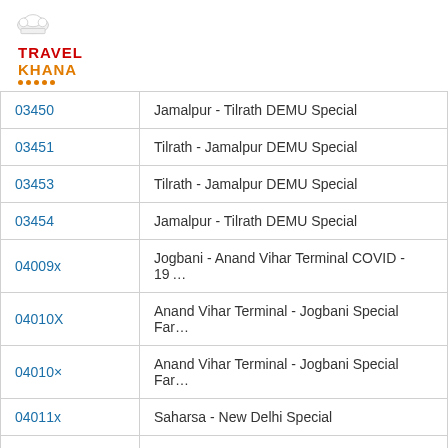[Figure (logo): Travel Khana logo with chef hat icon, red TRAVEL text and orange KHANA text with decorative dots]
| Train No | Train Name |
| --- | --- |
| 03450 | Jamalpur - Tilrath DEMU Special |
| 03451 | Tilrath - Jamalpur DEMU Special |
| 03453 | Tilrath - Jamalpur DEMU Special |
| 03454 | Jamalpur - Tilrath DEMU Special |
| 04009x | Jogbani - Anand Vihar Terminal COVID - 19... |
| 04010X | Anand Vihar Terminal - Jogbani Special Fare... |
| 04010× | Anand Vihar Terminal - Jogbani Special Fare... |
| 04011x | Saharsa - New Delhi Special |
| 04013X | Saharsa - Delhi Festival Special |
| 04014x | Delhi - Saharsa Festival Special |